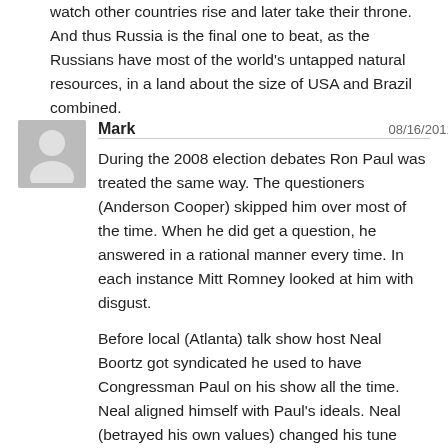watch other countries rise and later take their throne. And thus Russia is the final one to beat, as the Russians have most of the world's untapped natural resources, in a land about the size of USA and Brazil combined.
Mark  08/16/2011 • Reply
During the 2008 election debates Ron Paul was treated the same way. The questioners (Anderson Cooper) skipped him over most of the time. When he did get a question, he answered in a rational manner every time. In each instance Mitt Romney looked at him with disgust.
Before local (Atlanta) talk show host Neal Boortz got syndicated he used to have Congressman Paul on his show all the time. Neal aligned himself with Paul's ideals. Neal (betrayed his own values) changed his tune when his show went national. Now he talks of Dr. Paul as a kook. Neal changed, not Dr. Paul. Who is giving these people their marching orders?
Dr. Paul is prescribing the medicine this country needs…